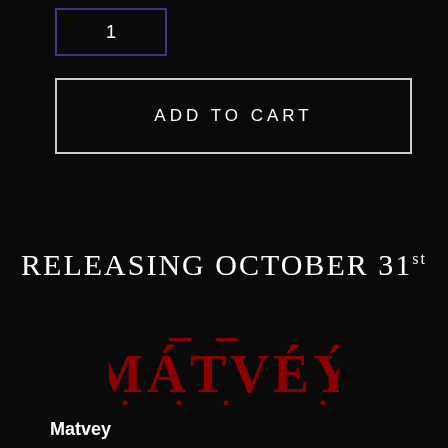[Figure (screenshot): Quantity input box with value '1', styled with dark background and blue-purple border]
ADD TO CART
RELEASING OCTOBER 31st
[Figure (logo): MATVEY stylized logo in dark red/crimson color with decorative diacritical marks above letters, resembling horror/gothic style lettering]
Matvey